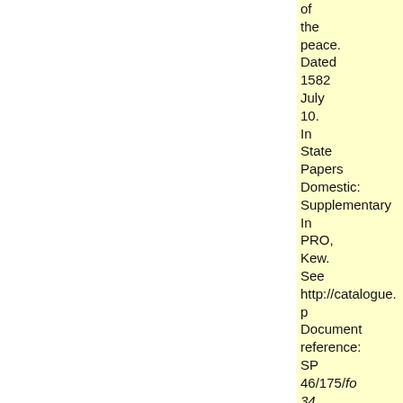of the peace. Dated 1582 July 10. In State Papers Domestic: Supplementary In PRO, Kew. See http://catalogue.p Document reference: SP 46/175/fo 34 See National Archives note 354/1/1: The Council in the